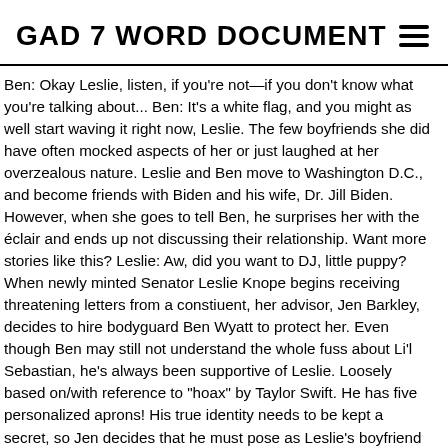GAD 7 WORD DOCUMENT
Ben: Okay Leslie, listen, if you're not—if you don't know what you're talking about... Ben: It's a white flag, and you might as well start waving it right now, Leslie. The few boyfriends she did have often mocked aspects of her or just laughed at her overzealous nature. Leslie and Ben move to Washington D.C., and become friends with Biden and his wife, Dr. Jill Biden. However, when she goes to tell Ben, he surprises her with the éclair and ends up not discussing their relationship. Want more stories like this? Leslie: Aw, did you want to DJ, little puppy? When newly minted Senator Leslie Knope begins receiving threatening letters from a constiuent, her advisor, Jen Barkley, decides to hire bodyguard Ben Wyatt to protect her. Even though Ben may still not understand the whole fuss about Li'l Sebastian, he's always been supportive of Leslie. Loosely based on/with reference to "hoax" by Taylor Swift. He has five personalized aprons! His true identity needs to be kept a secret, so Jen decides that he must pose as Leslie's boyfriend instead. : @mradamscott pic.twitter.com/KufdruNlv5, — Parks and Recreation (@parksandrecnbc) January 6, 2020. If this is the same Ben Wyatt, then Rachel and Ben had some type of relationship that would connect these two shows. TV and Movies. Leslie: Excuse me, I'm not forcing him to do anything! Still,